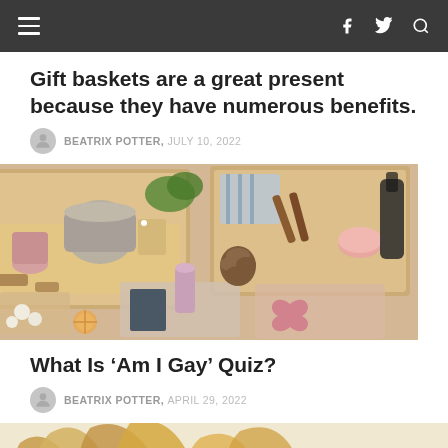Navigation bar with hamburger menu, Facebook, Twitter, and search icons
Gift baskets are a great present because they have numerous benefits.
BEATRIX POTTER, JULY 10, 2022
[Figure (photo): Overhead view of multiple open gift baskets filled with candles, mugs, pinecones, spices, and various items arranged on a wooden surface.]
What Is 'Am I Gay' Quiz?
BEATRIX POTTER, APRIL 29, 2022
[Figure (photo): Close-up photo of colorful pencil shavings and pencils on a surface.]